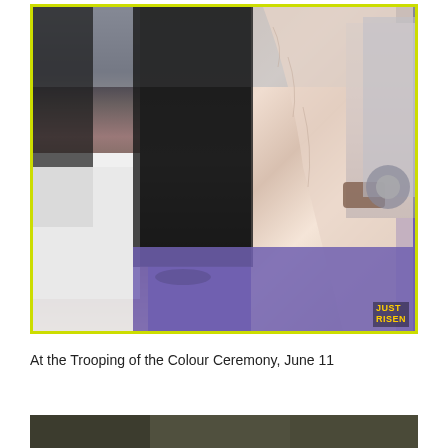[Figure (photo): People at a formal event on a purple carpet. A woman in a long pink/rose gold embellished gown holds a clutch bag. A man in a black suit stands beside her. A white structure is visible on the left, and a car is visible on the right. A yellow watermark reading 'JUST RISEN' appears in the bottom right corner.]
At the Trooping of the Colour Ceremony, June 11
[Figure (photo): Partial view of another photograph at the bottom of the page, showing dark-toned subjects.]